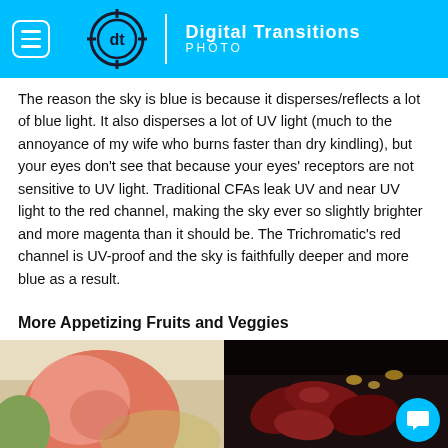Digital Transitions Photo
The reason the sky is blue is because it disperses/reflects a lot of blue light. It also disperses a lot of UV light (much to the annoyance of my wife who burns faster than dry kindling), but your eyes don't see that because your eyes' receptors are not sensitive to UV light. Traditional CFAs leak UV and near UV light to the red channel, making the sky ever so slightly brighter and more magenta than it should be. The Trichromatic's red channel is UV-proof and the sky is faithfully deeper and more blue as a result.
More Appetizing Fruits and Veggies
[Figure (photo): Two side-by-side photos of fruits: left shows apples/pears in warm light, right shows red dried peppers or similar produce in dark setting.]